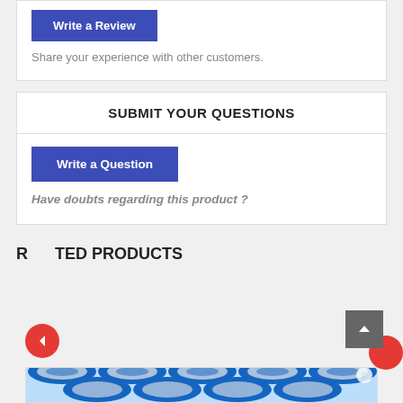Write a Review
Share your experience with other customers.
SUBMIT YOUR QUESTIONS
Write a Question
Have doubts regarding this product ?
RELATED PRODUCTS
[Figure (photo): Blue and white decorative fabric swag/bunting product image]